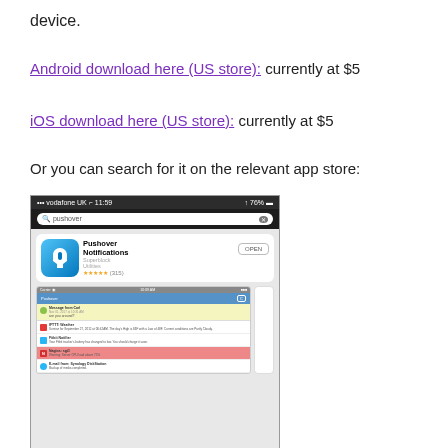device.
Android download here (US store): currently at $5
iOS download here (US store): currently at $5
Or you can search for it on the relevant app store:
[Figure (screenshot): A smartphone screenshot showing the iOS App Store search results for 'pushover', displaying the Pushover Notifications app by Superblock Utilities with an OPEN button, star ratings, and a nested screenshot of the Pushover app interface showing various notifications including messages from Carl, IFTTT Weather, Fitbit Notifier, Nagios, and Synology DiskStation.]